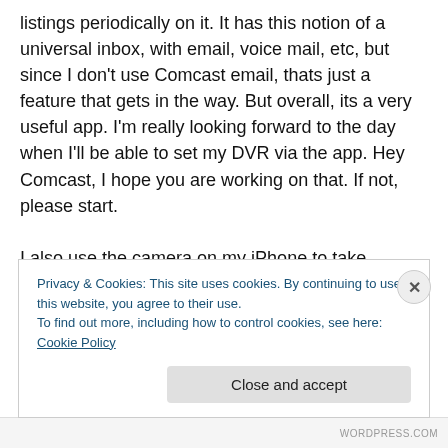listings periodically on it. It has this notion of a universal inbox, with email, voice mail, etc, but since I don't use Comcast email, thats just a feature that gets in the way. But overall, its a very useful app. I'm really looking forward to the day when I'll be able to set my DVR via the app. Hey Comcast, I hope you are working on that. If not, please start.

I also use the camera on my iPhone to take pictures of my son bunch. That's not surprising, but what I find myself surprised by is how often I try to capture video. I love
Privacy & Cookies: This site uses cookies. By continuing to use this website, you agree to their use.
To find out more, including how to control cookies, see here: Cookie Policy